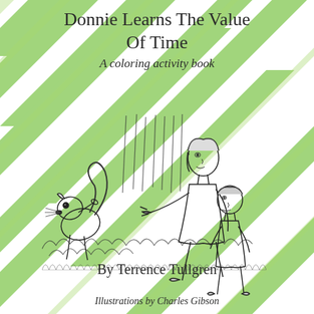Donnie Learns The Value Of Time
A coloring activity book
[Figure (illustration): Line drawing of a woman and child sitting in grass, with a squirrel facing them. The woman points toward the squirrel while the child leans against her. Trees in background. Black and white sketch style.]
By Terrence Tullgren
Illustrations by Charles Gibson